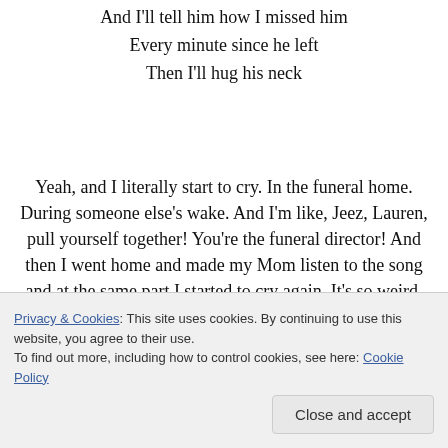And I'll tell him how I missed him
Every minute since he left
Then I'll hug his neck
Yeah, and I literally start to cry. In the funeral home. During someone else's wake. And I'm like, Jeez, Lauren, pull yourself together! You're the funeral director! And then I went home and made my Mom listen to the song and at the same part I started to cry again. It's so weird. My grandfather has been gone for eleven years this November. So it's not like it's a fresh wound. But hearing those lyrics made it feel so — new. It's another reminder those feelings of sadness and pain. But that's okay,
Privacy & Cookies: This site uses cookies. By continuing to use this website, you agree to their use.
To find out more, including how to control cookies, see here: Cookie Policy
[Close and accept]